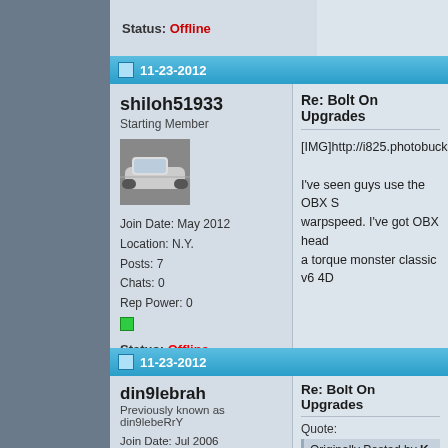Status: Offline
11-23-2012
shiloh51933
Starting Member
Join Date: May 2012
Location: N.Y.
Posts: 7
Chats: 0
Rep Power: 0
Status: Offline
Re: Bolt On Upgrades
[IMG]http://i825.photobucket.co...
I've seen guys use the OBX SS... warpspeed. I've got OBX head... a torque monster classic v6 4D...
11-23-2012
din9lebrah
Previously known as din9lebeRrY
Join Date: Jul 2006
Location: New York City
Posts: 6,207
Chats: 5009
Rep Power: 27
Re: Bolt On Upgrades
Quote:
Originally Posted by K-Ry
But I also know that perfo...
Advice to the OP, the 3rd g... that you gotta keep the bo... application. So if you wa...